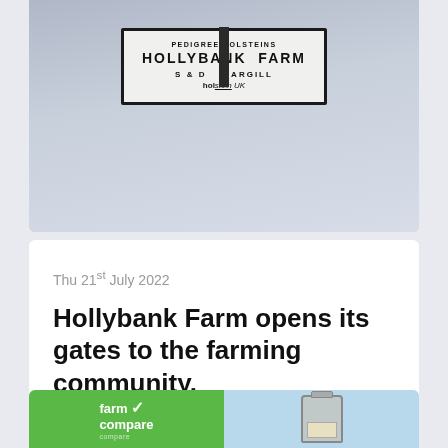[Figure (photo): Photograph of a farm sign reading 'Pedigree Holsteins, Hollybank Farm, S & D Cargill, Holstein UK' mounted on a black pole against a cloudy sky.]
Thu 21st July 2022
Hollybank Farm opens its gates to the farming community.
[Figure (photo): Advertisement banner showing 'farm v compare' logo on green background and a farm water tank on light blue background.]